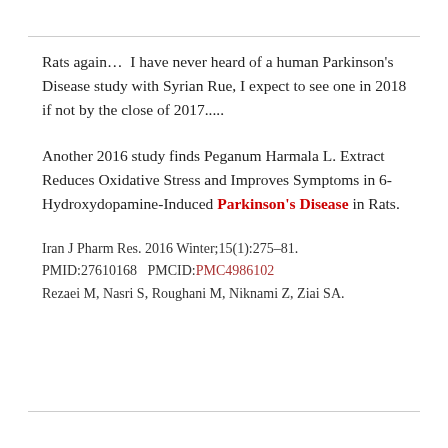Rats again…  I have never heard of a human Parkinson's Disease study with Syrian Rue, I expect to see one in 2018 if not by the close of 2017.....
Another 2016 study finds Peganum Harmala L. Extract Reduces Oxidative Stress and Improves Symptoms in 6-Hydroxydopamine-Induced Parkinson's Disease in Rats.
Iran J Pharm Res. 2016 Winter;15(1):275–81.
PMID:27610168   PMCID:PMC4986102
Rezaei M, Nasri S, Roughani M, Niknami Z, Ziai SA.